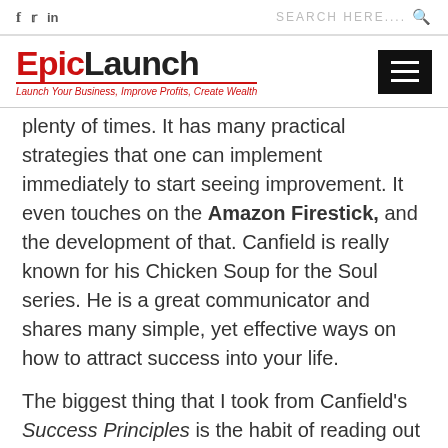f  in  SEARCH HERE....
[Figure (logo): EpicLaunch logo with tagline: Launch Your Business, Improve Profits, Create Wealth]
plenty of times. It has many practical strategies that one can implement immediately to start seeing improvement. It even touches on the Amazon Firestick, and the development of that. Canfield is really known for his Chicken Soup for the Soul series. He is a great communicator and shares many simple, yet effective ways on how to attract success into your life.
The biggest thing that I took from Canfield's Success Principles is the habit of reading out your goals twice a day. Once in the morning when you arise, and once at night